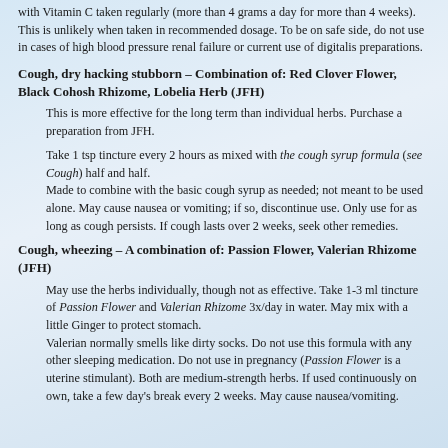with Vitamin C taken regularly (more than 4 grams a day for more than 4 weeks). This is unlikely when taken in recommended dosage. To be on safe side, do not use in cases of high blood pressure renal failure or current use of digitalis preparations.
Cough, dry hacking stubborn – Combination of: Red Clover Flower, Black Cohosh Rhizome, Lobelia Herb (JFH)
This is more effective for the long term than individual herbs. Purchase a preparation from JFH.
Take 1 tsp tincture every 2 hours as mixed with the cough syrup formula (see Cough) half and half.
Made to combine with the basic cough syrup as needed; not meant to be used alone. May cause nausea or vomiting; if so, discontinue use. Only use for as long as cough persists. If cough lasts over 2 weeks, seek other remedies.
Cough, wheezing – A combination of: Passion Flower, Valerian Rhizome (JFH)
May use the herbs individually, though not as effective. Take 1-3 ml tincture of Passion Flower and Valerian Rhizome 3x/day in water. May mix with a little Ginger to protect stomach.
Valerian normally smells like dirty socks. Do not use this formula with any other sleeping medication. Do not use in pregnancy (Passion Flower is a uterine stimulant). Both are medium-strength herbs. If used continuously on own, take a few day's break every 2 weeks. May cause nausea/vomiting.